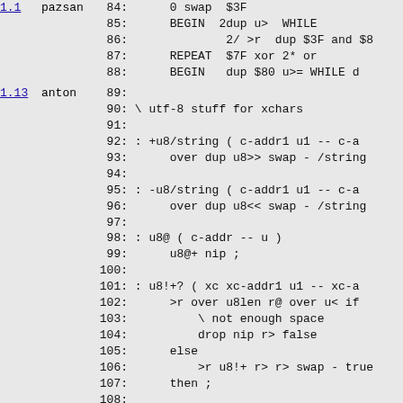1.1  pazsan  84:   0 swap  $3F
85:   BEGIN  2dup u>  WHILE
86:         2/ >r  dup $3F and $8
87:   REPEAT  $7F xor 2* or
88:   BEGIN   dup $80 u>= WHILE d
1.13  anton  89:
90:  \ utf-8 stuff for xchars
91:
92:  : +u8/string ( c-addr1 u1 -- c-a
93:       over dup u8>> swap - /string
94:
95:  : -u8/string ( c-addr1 u1 -- c-a
96:       over dup u8<< swap - /string
97:
98:  : u8@ ( c-addr -- u )
99:       u8@+ nip ;
100:
101:  : u8!+? ( xc xc-addr1 u1 -- xc-a
102:       >r over u8len r@ over u< if
103:           \ not enough space
104:           drop nip r> false
105:       else
106:           >r u8!+ r> r> swap - true
107:       then ;
108:
109:  : u8addrlen ( u8-addr -- u )
110:       \ length of UTF-8 char start
111:       c@
112:       dup $80 u< if drop 1 exit en
113:       dup $c0 u< if UTF-8-err th